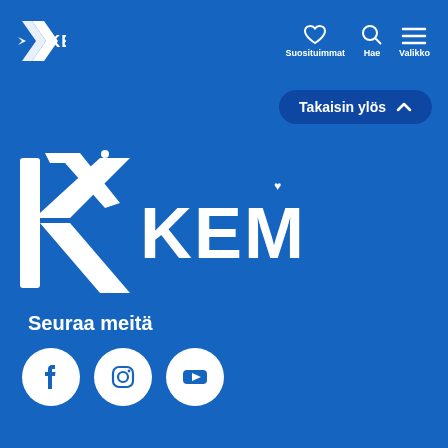[Figure (logo): Kemi city logo small white in top navigation bar]
[Figure (logo): Navigation icons: heart (Suosituimmat), search (Hae), hamburger menu (Valikko) with labels in white]
[Figure (screenshot): Takaisin ylös (Back to top) button with chevron up arrow, dark blue rounded pill shape]
[Figure (logo): Large Kemi city logo in white on blue background, center-left area]
Seuraa meitä
[Figure (infographic): Three white circle social media icons: Facebook (f), Instagram (camera), YouTube (play button)]